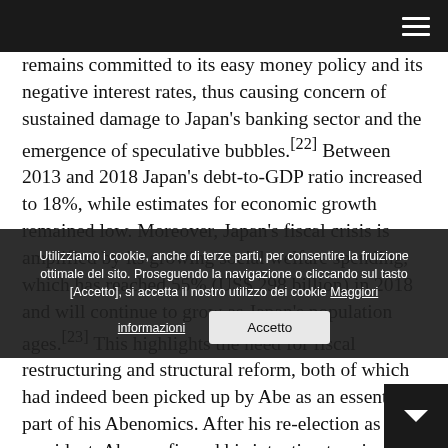[Navigation bar with hamburger menu]
remains committed to its easy money policy and its negative interest rates, thus causing concern of sustained damage to Japan's banking sector and the emergence of speculative bubbles.[22] Between 2013 and 2018 Japan's debt-to-GDP ratio increased to 18%, while estimates for economic growth remained low. Moreover, Japan's fiscal crisis is amplified by its growing social welfare spending, which has reached 55% (US$ 298 billion) in 2018 and will continue to grow as Japan's population ages.[23] This highlights the need for fiscal restructuring and structural reform, both of which had indeed been picked up by Abe as an essential part of his Abenomics. After his re-election as LDP president, Abe confirmed his intention to raise consumption tax from 8% to 10% starting in October 2019.[24] And yet, doubts remain about fiscal restructuring: the administration proposed cashback schemes to compensate for the tax hike and thus spur
Utilizzamo i cookie, anche di terze parti, per consentire la fruizione ottimale del sito. Proseguendo la navigazione o cliccando sul tasto [Accetto], si accetta il nostro utilizzo dei cookie Maggiori informazioni | Accetto